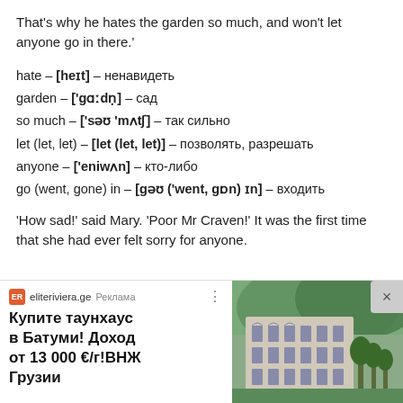That's why he hates the garden so much, and won't let anyone go in there.'
hate – [heɪt] – ненавидеть
garden – ['gɑːdṇ] – сад
so much – ['səʊ 'mʌtʃ] – так сильно
let (let, let) – [let (let, let)] – позволять, разрешать
anyone – ['eniwʌn] – кто-либо
go (went, gone) in – [gəʊ ('went, gɒn) ɪn] – входить
'How sad!' said Mary. 'Poor Mr Craven!' It was the first time that she had ever felt sorry for anyone.
[Figure (other): Advertisement banner for eliteriviera.ge showing a real estate ad with text 'Купите таунхаус в Батуми! Доход от 13 000 €/г!ВНЖ Грузии' and a photo of a townhouse building]